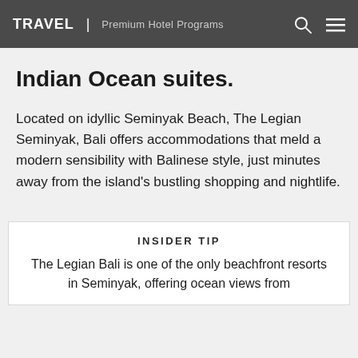TRAVEL | Premium Hotel Programs
Indian Ocean suites.
Located on idyllic Seminyak Beach, The Legian Seminyak, Bali offers accommodations that meld a modern sensibility with Balinese style, just minutes away from the island's bustling shopping and nightlife.
INSIDER TIP
The Legian Bali is one of the only beachfront resorts in Seminyak, offering ocean views from